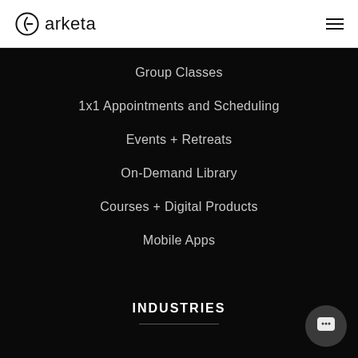[Figure (logo): Arketa logo with circular icon and wordmark 'arketa']
Group Classes
1x1 Appointments and Scheduling
Events + Retreats
On-Demand Library
Courses + Digital Products
Mobile Apps
INDUSTRIES
[Figure (illustration): Chat/support bubble icon in bottom right corner]